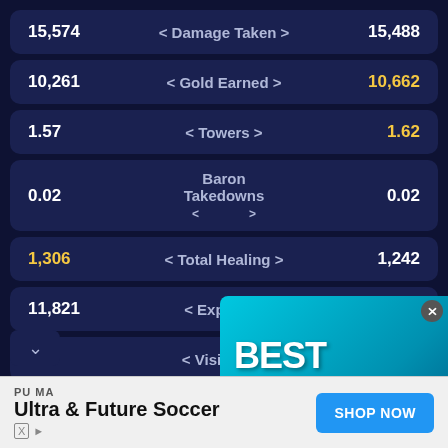| Left Value | Stat | Right Value |
| --- | --- | --- |
| 15,574 | < Damage Taken > | 15,488 |
| 10,261 | < Gold Earned > | 10,662 |
| 1.57 | < Towers > | 1.62 |
| 0.02 | < Baron Takedowns > | 0.02 |
| 1,306 | < Total Healing > | 1,242 |
| 11,821 | < Experience > |  |
| 48 | < Vision S... > |  |
[Figure (screenshot): Game advertisement overlay showing 'BEST CRAB POKEMON' with cartoon crab Pokemon characters on a teal/blue background]
[Figure (screenshot): PUMA advertisement banner: 'Ultra & Future Soccer' with SHOP NOW button]